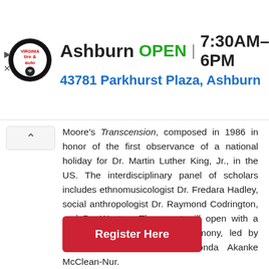[Figure (screenshot): Advertisement banner for Virginia Tire & Auto in Ashburn. Shows circular logo, location name 'Ashburn', OPEN status, hours '7:30AM–6PM', address '43781 Parkhurst Plaza, Ashburn', and a blue navigation arrow icon.]
Moore's Transcension, composed in 1986 in honor of the first observance of a national holiday for Dr. Martin Luther King, Jr., in the US. The interdisciplinary panel of scholars includes ethnomusicologist Dr. Fredara Hadley, social anthropologist Dr. Raymond Codrington, and Dr. Weston. The event will open with a traditional African libation ceremony, led by Susann Miles and Rev. Rhonda Akanke McClean-Nur.
Proof of vaccination, masks, and advance registration are required.
[Figure (other): Red button labeled 'Register Here']